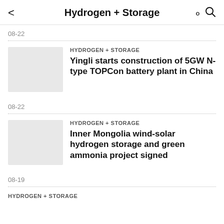Hydrogen + Storage
08-22
[Figure (photo): Thumbnail placeholder image for news article 1]
HYDROGEN + STORAGE
Yingli starts construction of 5GW N-type TOPCon battery plant in China
08-22
[Figure (photo): Thumbnail placeholder image for news article 2]
HYDROGEN + STORAGE
Inner Mongolia wind-solar hydrogen storage and green ammonia project signed
08-19
HYDROGEN + STORAGE